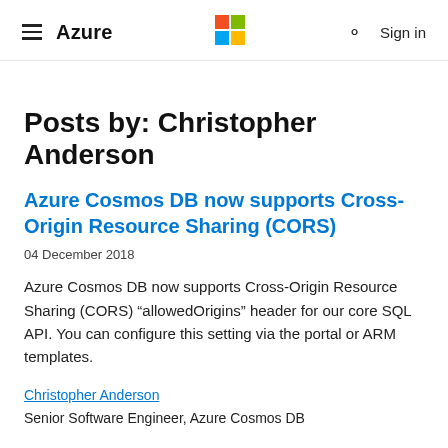Azure
Posts by: Christopher Anderson
Azure Cosmos DB now supports Cross-Origin Resource Sharing (CORS)
04 December 2018
Azure Cosmos DB now supports Cross-Origin Resource Sharing (CORS) “allowedOrigins” header for our core SQL API. You can configure this setting via the portal or ARM templates.
Christopher Anderson
Senior Software Engineer, Azure Cosmos DB